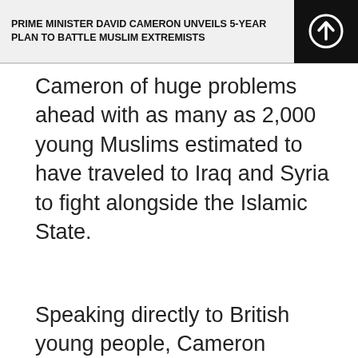PRIME MINISTER DAVID CAMERON UNVEILS 5-YEAR PLAN TO BATTLE MUSLIM EXTREMISTS
Cameron of huge problems ahead with as many as 2,000 young Muslims estimated to have traveled to Iraq and Syria to fight alongside the Islamic State.
Speaking directly to British young people, Cameron declared: “You are cannon fodder for